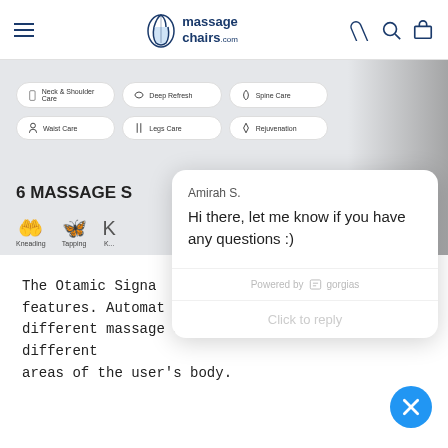massagechairs.com
[Figure (screenshot): Product page screenshot showing massage chair remote control interface with buttons: Neck & Shoulder Care, Deep Refresh, Spine Care, Waist Care, Legs Care, Rejuvenation. Also shows 6 MASSAGE S... heading and massage type icons: Kneading, Tapping, K...]
[Figure (screenshot): Chat popup from Amirah S. saying 'Hi there, let me know if you have any questions :)' with Powered by gorgias footer and Click to reply area]
The Otamic Signa... features. Automat... different massage styles that focuses in on different areas of the user's body.